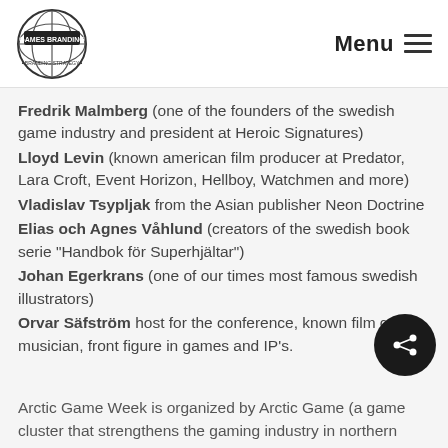Games Branding | Menu
Fredrik Malmberg (one of the founders of the swedish game industry and president at Heroic Signatures)
Lloyd Levin (known american film producer at Predator, Lara Croft, Event Horizon, Hellboy, Watchmen and more)
Vladislav Tsypljak from the Asian publisher Neon Doctrine
Elias och Agnes Våhlund (creators of the swedish book serie "Handbok för Superhjältar")
Johan Egerkrans (one of our times most famous swedish illustrators)
Orvar Säfström host for the conference, known film critic, musician, front figure in games and IP's.
Arctic Game Week is organized by Arctic Game (a game cluster that strengthens the gaming industry in northern